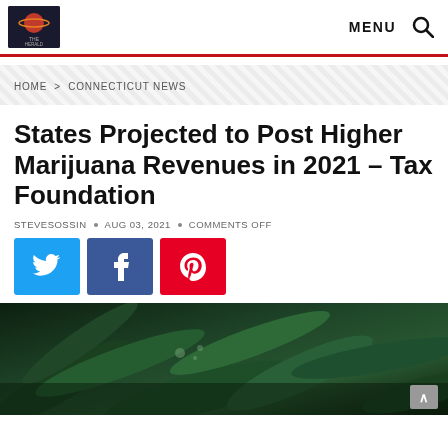THC HERALD — MENU [search icon]
HOME > CONNECTICUT NEWS
States Projected to Post Higher Marijuana Revenues in 2021 – Tax Foundation
STEVESOSSIN • AUG 03, 2021 • COMMENTS OFF
[Figure (other): Social share buttons: Twitter (blue), Facebook (dark blue), Pinterest (red)]
[Figure (photo): Close-up photo of dark green marijuana/cannabis leaves]